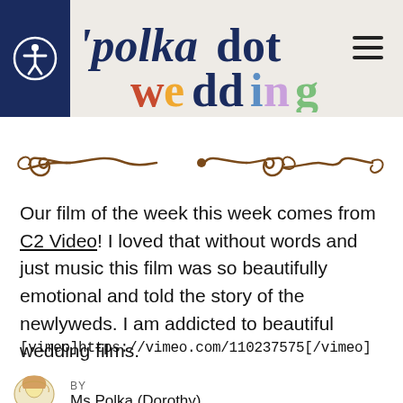polkadot wedding
[Figure (illustration): Decorative brown scroll/flourish divider with a dot in the center]
Our film of the week this week comes from C2 Video! I loved that without words and just music this film was so beautifully emotional and told the story of the newlyweds. I am addicted to beautiful wedding films.
[vimeo]https://vimeo.com/110237575[/vimeo]
BY
Ms Polka (Dorothy)